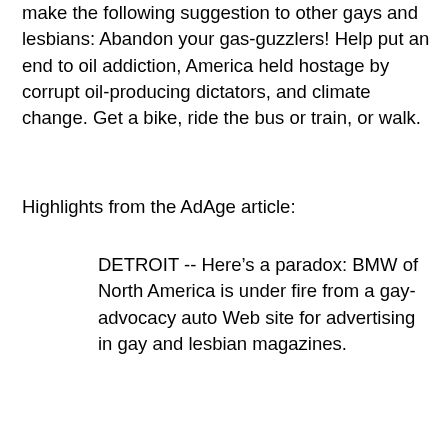make the following suggestion to other gays and lesbians: Abandon your gas-guzzlers! Help put an end to oil addiction, America held hostage by corrupt oil-producing dictators, and climate change. Get a bike, ride the bus or train, or walk.
Highlights from the AdAge article:
DETROIT -- Here's a paradox: BMW of North America is under fire from a gay-advocacy auto Web site for advertising in gay and lesbian magazines.
Gaywheels.com called BMW hypocritical, pointing out that the automaker targets “the deep pockets” of gays and lesbians by advertising in publications like The Advocate but doesn’t offer domestic-partner benefits to employees.
“Gay and lesbian consumers want to spend their money with gay-friendly companies,” Joe LaMuraglia, publisher of Gaywheels.com, told Advertising Age. “A lot of people will see